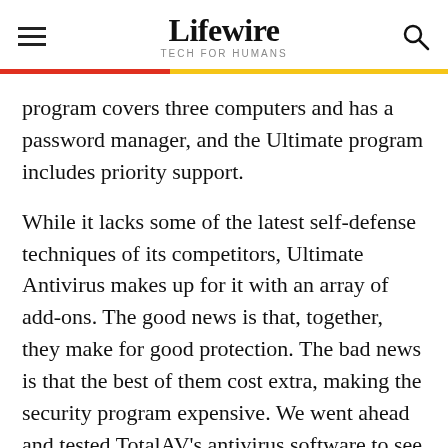Lifewire TECH FOR HUMANS
program covers three computers and has a password manager, and the Ultimate program includes priority support.
While it lacks some of the latest self-defense techniques of its competitors, Ultimate Antivirus makes up for it with an array of add-ons. The good news is that, together, they make for good protection. The bad news is that the best of them cost extra, making the security program expensive. We went ahead and tested TotalAV's antivirus software to see how it stacks up against the other services on the market. Read on for our full take